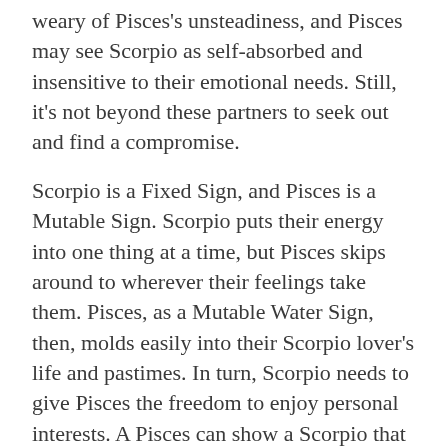weary of Pisces's unsteadiness, and Pisces may see Scorpio as self-absorbed and insensitive to their emotional needs. Still, it's not beyond these partners to seek out and find a compromise.
Scorpio is a Fixed Sign, and Pisces is a Mutable Sign. Scorpio puts their energy into one thing at a time, but Pisces skips around to wherever their feelings take them. Pisces, as a Mutable Water Sign, then, molds easily into their Scorpio lover's life and pastimes. In turn, Scorpio needs to give Pisces the freedom to enjoy personal interests. A Pisces can show a Scorpio that flexibility can be fun and exciting, that compromise can be reached without a big fight or struggle. The energies of a Scorpio and a Pisces feed off of one another's energy well, making for a powerful and emotionally satisfying union.
What's the best thing about a Scorpio-Pisces love match? Their similarly intense emotional natures, their shared